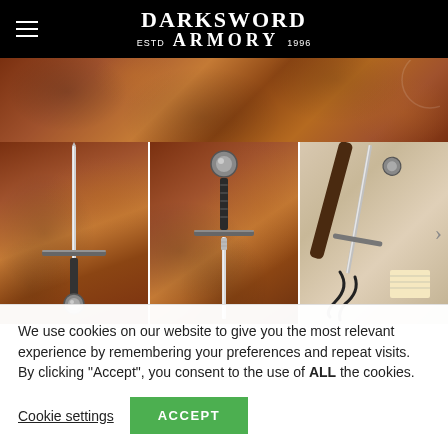DARKSWORD ESTD ARMORY 1996
[Figure (photo): Close-up of brown leather texture background — main hero image strip]
[Figure (photo): Photo of a medieval longsword against brown leather background — full sword vertical view]
[Figure (photo): Photo of a medieval sword hilt and upper blade against brown leather background — close-up]
[Figure (photo): Photo of a medieval sword with scabbard and accessories against light background]
We use cookies on our website to give you the most relevant experience by remembering your preferences and repeat visits. By clicking “Accept”, you consent to the use of ALL the cookies.
Cookie settings   ACCEPT